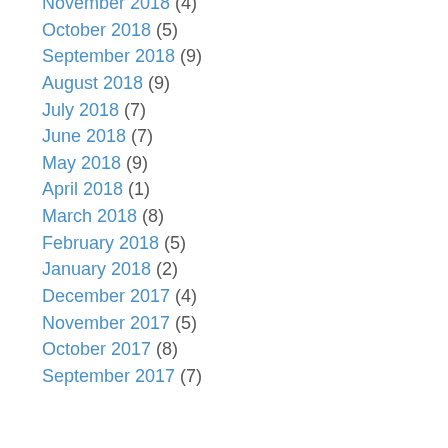November 2018 (4)
October 2018 (5)
September 2018 (9)
August 2018 (9)
July 2018 (7)
June 2018 (7)
May 2018 (9)
April 2018 (1)
March 2018 (8)
February 2018 (5)
January 2018 (2)
December 2017 (4)
November 2017 (5)
October 2017 (8)
September 2017 (7)